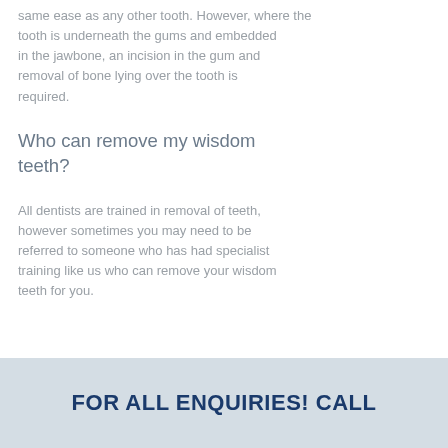same ease as any other tooth. However, where the tooth is underneath the gums and embedded in the jawbone, an incision in the gum and removal of bone lying over the tooth is required.
Who can remove my wisdom teeth?
All dentists are trained in removal of teeth, however sometimes you may need to be referred to someone who has had specialist training like us who can remove your wisdom teeth for you.
FOR ALL ENQUIRIES! CALL